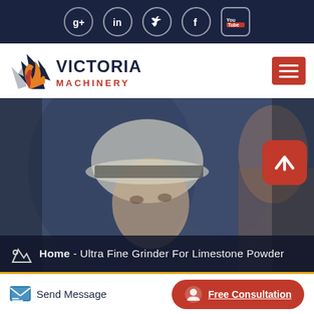[Figure (infographic): Social media icon bar with Google+, LinkedIn, Twitter, Facebook, YouTube icons on dark navy background]
[Figure (logo): Victoria Machinery logo with flame/arrow icon and red text VICTORIA MACHINERY]
[Figure (photo): Hero image showing construction worker in white hard hat looking up, dark navy overlay, with breadcrumb navigation bar at bottom reading: Home - Ultra Fine Grinder For Limestone Powder]
Home  - Ultra Fine Grinder For Limestone Powder
Send Message
Free Consultation